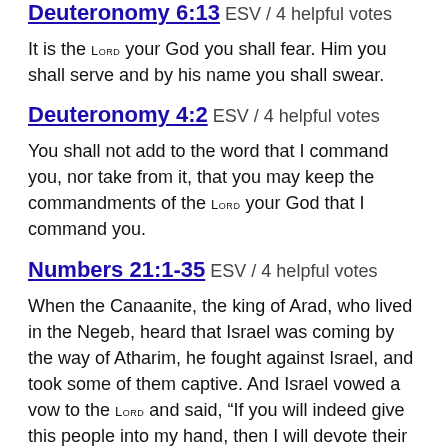Deuteronomy 6:13 ESV / 4 helpful votes
It is the LORD your God you shall fear. Him you shall serve and by his name you shall swear.
Deuteronomy 4:2 ESV / 4 helpful votes
You shall not add to the word that I command you, nor take from it, that you may keep the commandments of the LORD your God that I command you.
Numbers 21:1-35 ESV / 4 helpful votes
When the Canaanite, the king of Arad, who lived in the Negeb, heard that Israel was coming by the way of Atharim, he fought against Israel, and took some of them captive. And Israel vowed a vow to the LORD and said, “If you will indeed give this people into my hand, then I will devote their cities to destruction.” And the LORD heeded the voice of Israel and gave over the Canaanites, and they devoted them and their cities to destruction. So the name of the place was called Hormah. From Mount Hor they set out by the way to the Red Sea, to go around the